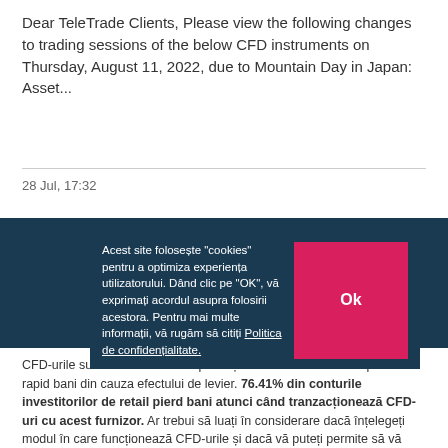Dear TeleTrade Clients, Please view the following changes to trading sessions of the below CFD instruments on Thursday, August 11, 2022, due to Mountain Day in Japan: Asset...
28 Jul, 17:32
Low liquidity due to Bank Holiday in Australia
Dear clients... Monday, August 1... may be reduced liquidity and wider... stated with its market...
Acest site folosește "cookies" pentru a optimiza experiența utilizatorului. Dând clic pe "OK", vă exprimați acordul asupra folosirii acestora. Pentru mai multe informații, vă rugăm să citiți Politica de confidențialitate.
CFD-urile sunt instrumente complexe și au un risc ridicat de a pierde rapid bani din cauza efectului de levier. 76.41% din conturile investitorilor de retail pierd bani atunci când tranzacționează CFD-uri cu acest furnizor. Ar trebui să luați în considerare dacă înțelegeți modul în care funcționează CFD-urile și dacă vă puteți permite să vă asumați riscul ridicat de a vă pierde banii.